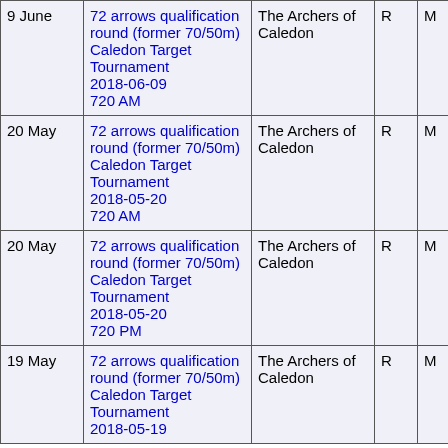| Date | Round / Tournament | Venue | R | M | Score | X |  |
| --- | --- | --- | --- | --- | --- | --- | --- |
| 9 June | 72 arrows qualification round (former 70/50m)
Caledon Target Tournament
2018-06-09
720 AM | The Archers of Caledon | R | M | 551 | 7 | 7 |
| 20 May | 72 arrows qualification round (former 70/50m)
Caledon Target Tournament
2018-05-20
720 AM | The Archers of Caledon | R | M | 543 | 8 | 8 |
| 20 May | 72 arrows qualification round (former 70/50m)
Caledon Target Tournament
2018-05-20
720 PM | The Archers of Caledon | R | M | 521 | 10 | 10 |
| 19 May | 72 arrows qualification round (former 70/50m)
Caledon Target Tournament
2018-05-19... | The Archers of Caledon | R | M | 508 | 7 | 7 |